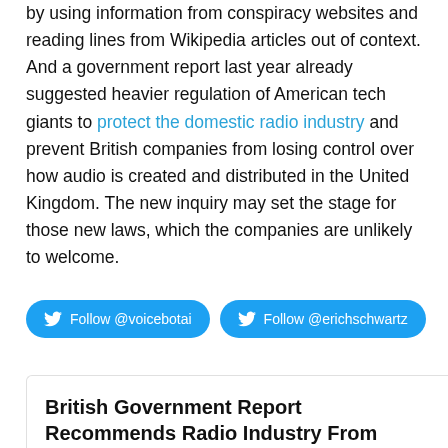by using information from conspiracy websites and reading lines from Wikipedia articles out of context. And a government report last year already suggested heavier regulation of American tech giants to protect the domestic radio industry and prevent British companies from losing control over how audio is created and distributed in the United Kingdom. The new inquiry may set the stage for those new laws, which the companies are unlikely to welcome.
[Figure (other): Two Twitter follow buttons: 'Follow @voicebotai' and 'Follow @erichschwartz', both in blue with Twitter bird icon]
British Government Report Recommends Radio Industry From American Smart Voice Assistants